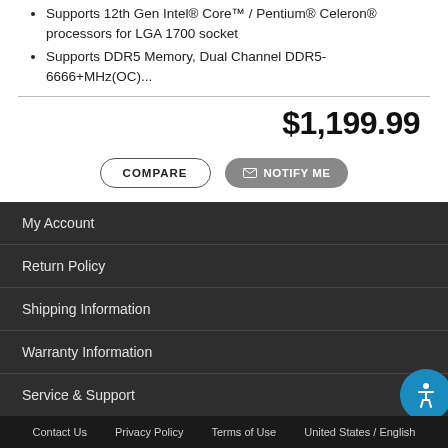Supports 12th Gen Intel® Core™ / Pentium® Celeron® processors for LGA 1700 socket
Supports DDR5 Memory, Dual Channel DDR5-6666+MHz(OC)...
$1,199.99
COMPARE | NOTIFY ME
My Account
Return Policy
Shipping Information
Warranty Information
Service & Support
Contact Us   Privacy Policy   Terms of Use   United States / English